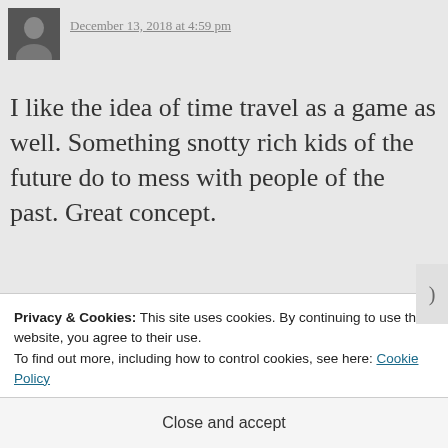[Figure (photo): Small avatar photo of a person]
December 13, 2018 at 4:59 pm
I like the idea of time travel as a game as well. Something snotty rich kids of the future do to mess with people of the past. Great concept.
★ Like
Reply
[Figure (photo): Small avatar photo of James Pulos]
James Pulos says:
Privacy & Cookies: This site uses cookies. By continuing to use this website, you agree to their use.
To find out more, including how to control cookies, see here: Cookie Policy
Close and accept